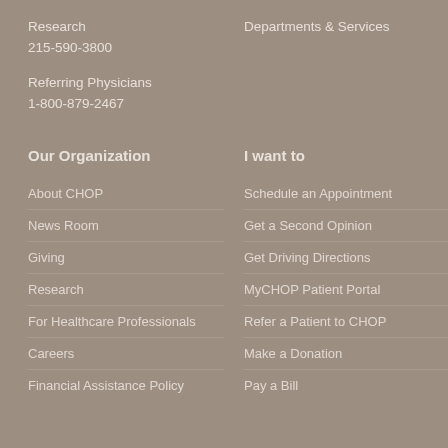Research
215-590-3800
Departments & Services
Referring Physicians
1-800-879-2467
Our Organization
I want to
About CHOP
Schedule an Appointment
News Room
Get a Second Opinion
Giving
Get Driving Directions
Research
MyCHOP Patient Portal
For Healthcare Professionals
Refer a Patient to CHOP
Careers
Make a Donation
Financial Assistance Policy
Pay a Bill